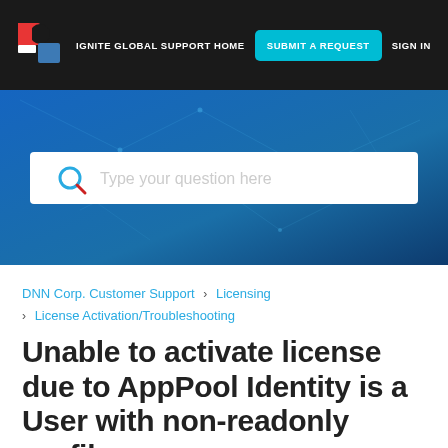IGNITE GLOBAL SUPPORT HOME   SUBMIT A REQUEST   SIGN IN
[Figure (screenshot): Hero banner with blue network/technology background and a search bar with placeholder text 'Type your question here']
DNN Corp. Customer Support > Licensing > License Activation/Troubleshooting
Unable to activate license due to AppPool Identity is a User with non-readonly profile